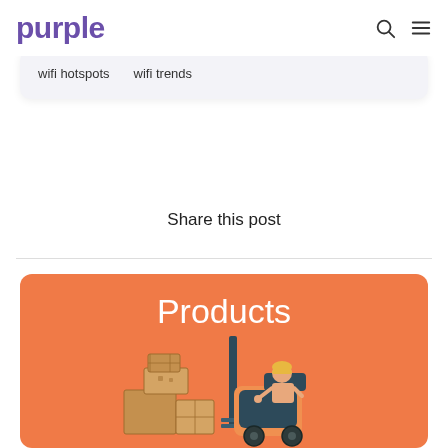purple
wifi hotspots
wifi trends
Share this post
[Figure (illustration): Orange card with 'Products' title and an illustration of a warehouse worker driving a forklift next to stacked cardboard boxes]